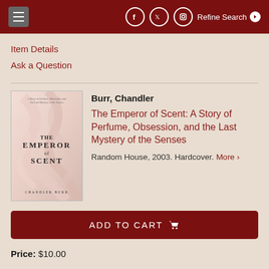≡  [Facebook] [Twitter] [Instagram]  Refine Search ›
Item Details
Ask a Question
[Figure (photo): Book cover of 'The Emperor of Scent' by Chandler Burr, showing soft pink/white flowing fabric or petals, with title and author text]
Burr, Chandler
The Emperor of Scent: A Story of Perfume, Obsession, and the Last Mystery of the Senses
Random House, 2003. Hardcover. More ›
ADD TO CART 🛒
Price: $10.00